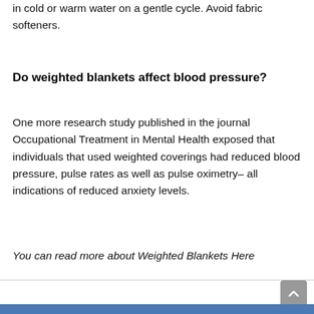in cold or warm water on a gentle cycle. Avoid fabric softeners.
Do weighted blankets affect blood pressure?
One more research study published in the journal Occupational Treatment in Mental Health exposed that individuals that used weighted coverings had reduced blood pressure, pulse rates as well as pulse oximetry– all indications of reduced anxiety levels.
You can read more about Weighted Blankets Here